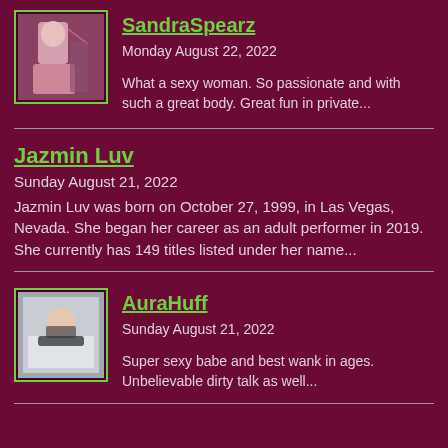[Figure (photo): Thumbnail photo of SandraSpearz]
SandraSpearz
Monday August 22, 2022
What a sexy woman. So passionate and with such a great body. Great fun in private...
Jazmin Luv
Sunday August 21, 2022
Jazmin Luv was born on October 27, 1999, in Las Vegas, Nevada. She began her career as an adult performer in 2019. She currently has 149 titles listed under her name...
[Figure (photo): Thumbnail photo of AuraHuff]
AuraHuff
Sunday August 21, 2022
Super sexy babe and best wank in ages. Unbelievable dirty talk as well...